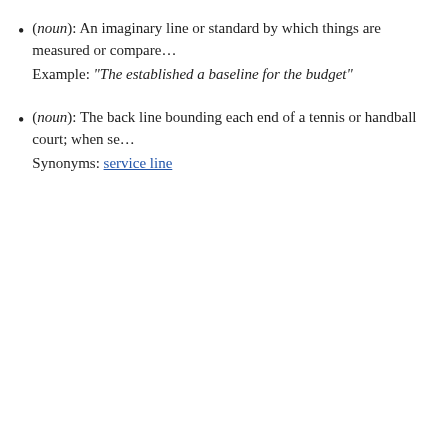(noun): An imaginary line or standard by which things are measured or compared. Example: "The established a baseline for the budget"
(noun): The back line bounding each end of a tennis or handball court; when se... Synonyms: service line